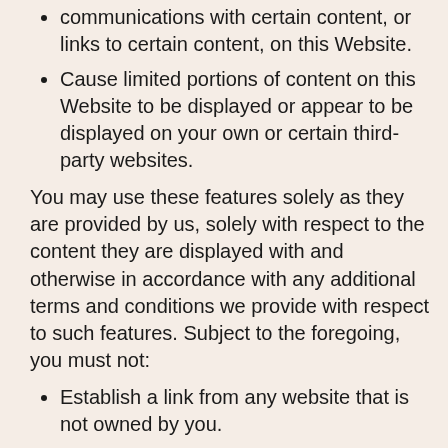communications with certain content, or links to certain content, on this Website.
Cause limited portions of content on this Website to be displayed or appear to be displayed on your own or certain third-party websites.
You may use these features solely as they are provided by us, solely with respect to the content they are displayed with and otherwise in accordance with any additional terms and conditions we provide with respect to such features. Subject to the foregoing, you must not:
Establish a link from any website that is not owned by you.
Cause the Website or portions of it to be displayed on, or appear to be displayed by, any other site, for example, framing, deep linking, or in-